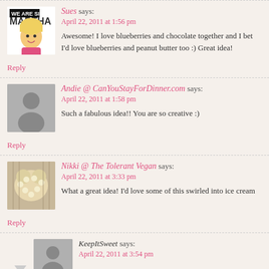Sues says: April 22, 2011 at 1:56 pm — Awesome! I love blueberries and chocolate together and I bet I'd love blueberries and peanut butter too :) Great idea!
Reply
Andie @ CanYouStayForDinner.com says: April 22, 2011 at 1:58 pm — Such a fabulous idea!! You are so creative :)
Reply
Nikki @ The Tolerant Vegan says: April 22, 2011 at 3:33 pm — What a great idea! I'd love some of this swirled into ice cream
Reply
KeepItSweet says: April 22, 2011 at 3:54 pm